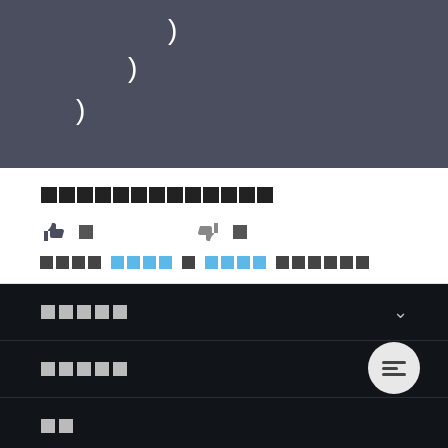[Figure (screenshot): Dark blue-gray image area with white closing parenthesis characters arranged in a diagonal pattern]
█████████████
👍 □   👎 □
████ ████ █ ████ ███████
██████
██████
██
████